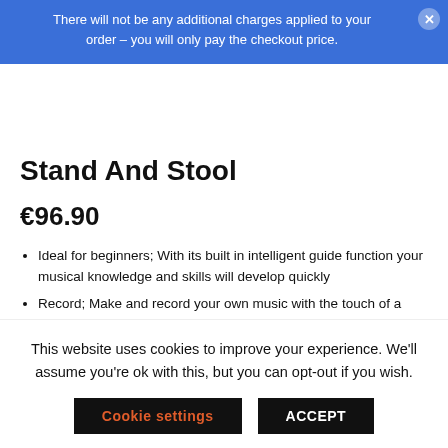There will not be any additional charges applied to your order – you will only pay the checkout price.
Stand And Stool
€96.90
Ideal for beginners; With its built in intelligent guide function your musical knowledge and skills will develop quickly
Record; Make and record your own music with the touch of a button
Play along; 128 rhythms and 128 Timbres to choose from
Included; 12 demo songs, voice effects, percussion effects
and a microphone; keyboard with stand and stool also
This website uses cookies to improve your experience. We'll assume you're ok with this, but you can opt-out if you wish.
Cookie settings
ACCEPT